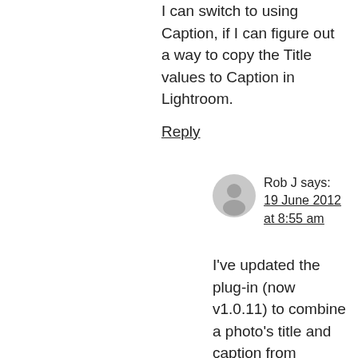I can switch to using Caption, if I can figure out a way to copy the Title values to Caption in Lightroom.
Reply
Rob J says: 19 June 2012 at 8:55 am
I've updated the plug-in (now v1.0.11) to combine a photo's title and caption from Lightroom into one